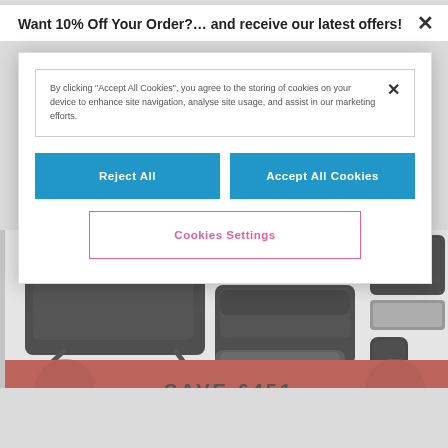[Figure (screenshot): Baby pram/stroller product image with accessories (car seat, carrycot, footmuff, backpack) shown in black. A red banner at bottom reads SAVE £451.]
Want 10% Off Your Order?… and receive our latest offers!
By clicking "Accept All Cookies", you agree to the storing of cookies on your device to enhance site navigation, analyse site usage, and assist in our marketing efforts.
Reject All
Accept All Cookies
Cookies Settings
SAVE £451